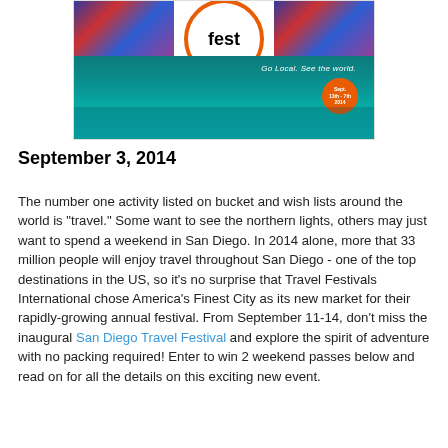[Figure (photo): Travel festival promotional image showing a logo circle with the word 'fest' on a white background flanked by colorful strip images on top, and an aerial view of San Diego coastline/bay below with text 'Go Local. See the world.' and an orange circular badge showing 'Sept. 13th - 7th 2014']
September 3, 2014
The number one activity listed on bucket and wish lists around the world is “travel.” Some want to see the northern lights, others may just want to spend a weekend in San Diego. In 2014 alone, more that 33 million people will enjoy travel throughout San Diego - one of the top destinations in the US, so it’s no surprise that Travel Festivals International chose America’s Finest City as its new market for their rapidly-growing annual festival. From September 11-14, don’t miss the inaugural San Diego Travel Festival and explore the spirit of adventure with no packing required! Enter to win 2 weekend passes below and read on for all the details on this exciting new event.